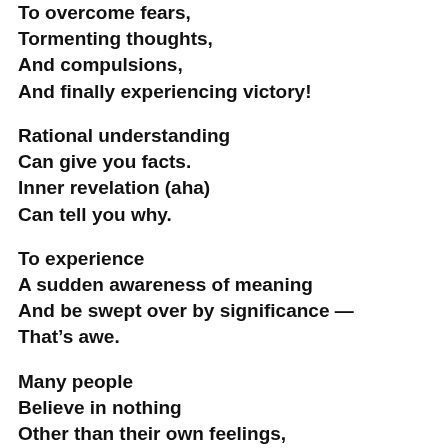To overcome fears,
Tormenting thoughts,
And compulsions,
And finally experiencing victory!
Rational understanding
Can give you facts.
Inner revelation (aha)
Can tell you why.
To experience
A sudden awareness of meaning
And be swept over by significance —
That’s awe.
Many people
Believe in nothing
Other than their own feelings,